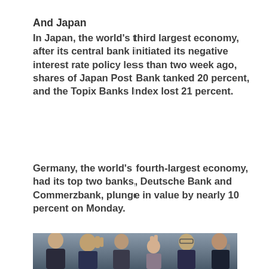And Japan
In Japan, the world’s third largest economy, after its central bank initiated its negative interest rate policy less than two week ago, shares of Japan Post Bank tanked 20 percent, and the Topix Banks Index lost 21 percent.
Germany, the world’s fourth-largest economy, had its top two banks, Deutsche Bank and Commerzbank, plunge in value by nearly 10 percent on Monday.
[Figure (photo): Photograph of traders or financial workers in a crowded room, several with raised hands, appearing stressed or busy, in formal business attire.]